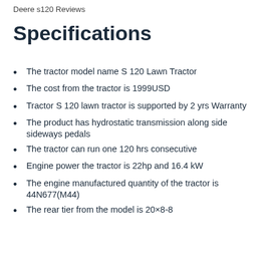Deere s120 Reviews
Specifications
The tractor model name S 120 Lawn Tractor
The cost from the tractor is 1999USD
Tractor S 120 lawn tractor is supported by 2 yrs Warranty
The product has hydrostatic transmission along side sideways pedals
The tractor can run one 120 hrs consecutive
Engine power the tractor is 22hp and 16.4 kW
The engine manufactured quantity of the tractor is 44N677(M44)
The rear tier from the model is 20×8-8